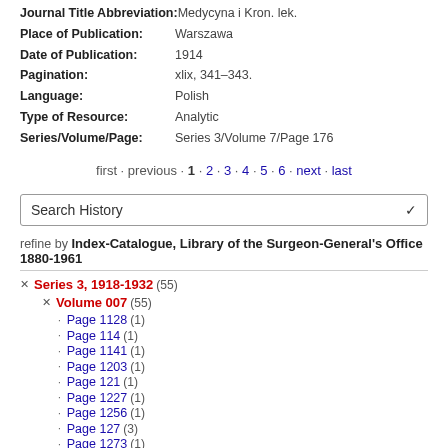Journal Title Abbreviation: Medycyna i Kron. lek.
Place of Publication: Warszawa
Date of Publication: 1914
Pagination: xlix, 341-343.
Language: Polish
Type of Resource: Analytic
Series/Volume/Page: Series 3/Volume 7/Page 176
first · previous · 1 · 2 · 3 · 4 · 5 · 6 · next · last
Search History
refine by Index-Catalogue, Library of the Surgeon-General's Office 1880-1961
Series 3, 1918-1932 (55)
Volume 007 (55)
Page 1128 (1)
Page 114 (1)
Page 1141 (1)
Page 1203 (1)
Page 121 (1)
Page 1227 (1)
Page 1256 (1)
Page 127 (3)
Page 1273 (1)
Page 1274 (1)
show more...